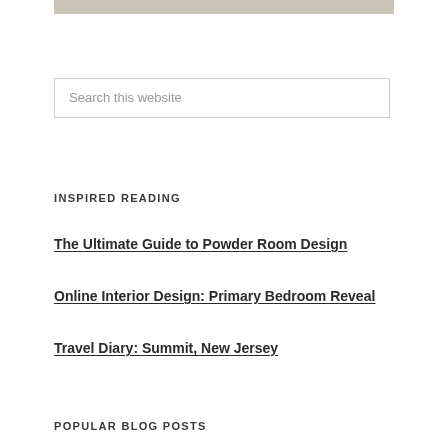[Figure (other): Gray decorative banner or image bar at the top of the page]
Search this website
INSPIRED READING
The Ultimate Guide to Powder Room Design
Online Interior Design: Primary Bedroom Reveal
Travel Diary: Summit, New Jersey
POPULAR BLOG POSTS